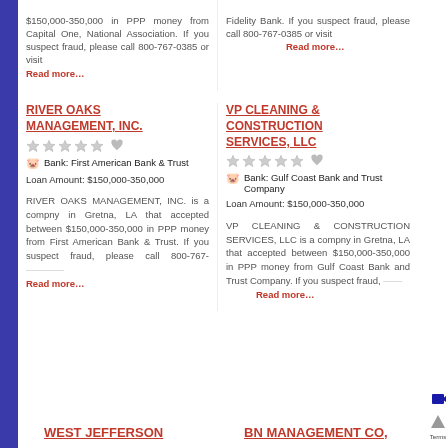$150,000-350,000 in PPP money from Capital One, National Association. If you suspect fraud, please... Read more...
Fidelity Bank. If you suspect fraud, please call 800-767-0385 or visit... Read more...
RIVER OAKS MANAGEMENT, INC.
Bank: First American Bank & Trust
Loan Amount: $150,000-350,000
RIVER OAKS MANAGEMENT, INC. is a compny in Gretna, LA that accepted between $150,000-350,000 in PPP money from First American Bank & Trust. If you suspect fraud, please call 800-767-... Read more...
VP CLEANING & CONSTRUCTION SERVICES, LLC
Bank: Gulf Coast Bank and Trust Company
Loan Amount: $150,000-350,000
VP CLEANING & CONSTRUCTION SERVICES, LLC is a compny in Gretna, LA that accepted between $150,000-350,000 in PPP money from Gulf Coast Bank and Trust Company. If you suspect fraud, ... Read more...
WEST JEFFERSON
BN MANAGEMENT CO,